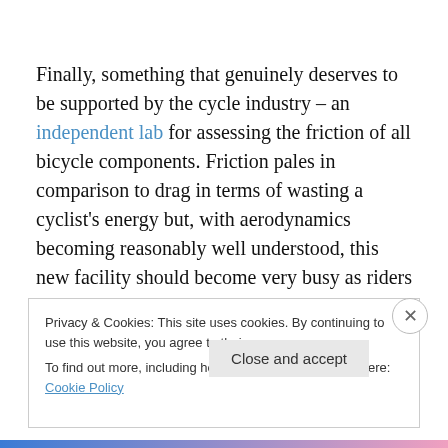Finally, something that genuinely deserves to be supported by the cycle industry – an independent lab for assessing the friction of all bicycle components. Friction pales in comparison to drag in terms of wasting a cyclist's energy but, with aerodynamics becoming reasonably well understood, this new facility should become very busy as riders want to shave even more seconds off their
Privacy & Cookies: This site uses cookies. By continuing to use this website, you agree to their use.
To find out more, including how to control cookies, see here: Cookie Policy
Close and accept